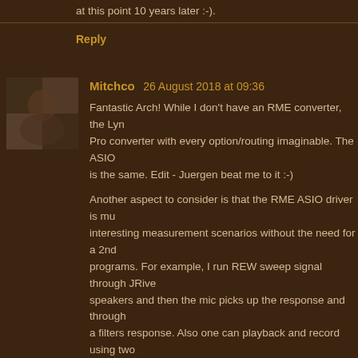at this point 10 years later :-)
Reply
[Figure (photo): Avatar photo of Mitchco]
Mitchco  26 August 2018 at 09:36
Fantastic Arch! While I don't have an RME converter, the Lyn Pro converter with every option/routing imaginable. The ASIO is the same. Edit - Juergen beat me to it :-)
Another aspect to consider is that the RME ASIO driver is mu interesting measurement scenarios without the need for a 2nd programs. For example, I run REW sweep signal through JRive speakers and then the mic picks up the response and through a filters response. Also one can playback and record using two external device and capturing the output in Audacity ASIO vers device and capture the output using Audacity ASIO as an easy possibilities...
I am sure you will have fun with it! Cheers, Mitch
Reply
Replies